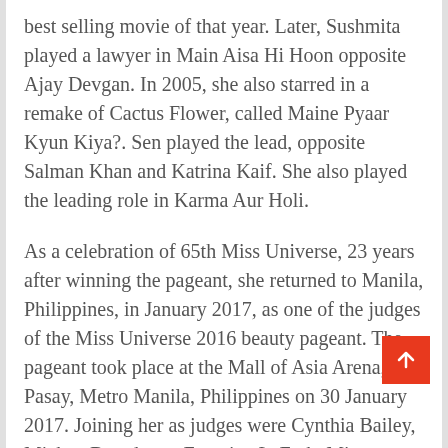best selling movie of that year. Later, Sushmita played a lawyer in Main Aisa Hi Hoon opposite Ajay Devgan. In 2005, she also starred in a remake of Cactus Flower, called Maine Pyaar Kyun Kiya?. Sen played the lead, opposite Salman Khan and Katrina Kaif. She also played the leading role in Karma Aur Holi.
As a celebration of 65th Miss Universe, 23 years after winning the pageant, she returned to Manila, Philippines, in January 2017, as one of the judges of the Miss Universe 2016 beauty pageant. The pageant took place at the Mall of Asia Arena, Pasay, Metro Manila, Philippines on 30 January 2017. Joining her as judges were Cynthia Bailey, Mickey Boardman, Francine LaFrak, Miss Universe 2011 Leila Lopes, and Miss Universe 1993 Dayanara Torres.
After her reign as Miss Universe, Sushmita became an